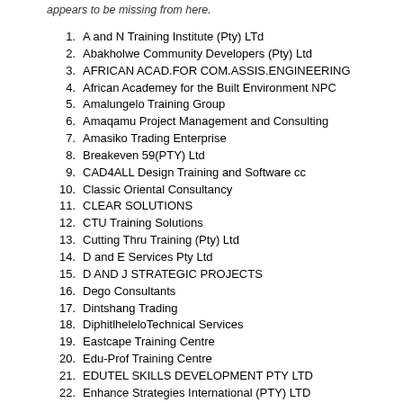appears to be missing from here.
A and N Training Institute (Pty) LTd
Abakholwe Community Developers (Pty) Ltd
AFRICAN ACAD.FOR COM.ASSIS.ENGINEERING
African Academey for the Built Environment NPC
Amalungelo Training Group
Amaqamu Project Management and Consulting
Amasiko Trading Enterprise
Breakeven 59(PTY) Ltd
CAD4ALL Design Training and Software cc
Classic Oriental Consultancy
CLEAR SOLUTIONS
CTU Training Solutions
Cutting Thru Training (Pty) Ltd
D and E Services Pty Ltd
D AND J STRATEGIC PROJECTS
Dego Consultants
Dintshang Trading
DiphitlheleloTechnical Services
Eastcape Training Centre
Edu-Prof Training Centre
EDUTEL SKILLS DEVELOPMENT PTY LTD
Enhance Strategies International (PTY) LTD
G CUBE COMMUNICATIONS CC
GATYANA TRAINING ACADEMY
Gola Institute of Engineering